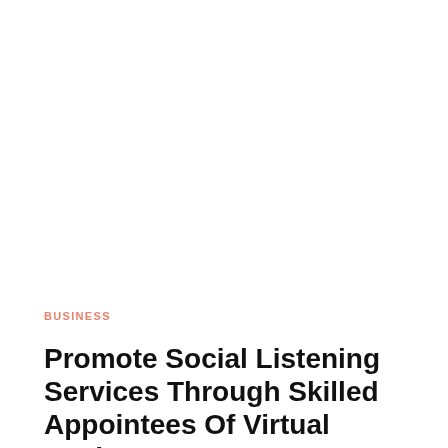BUSINESS
Promote Social Listening Services Through Skilled Appointees Of Virtual Assistants